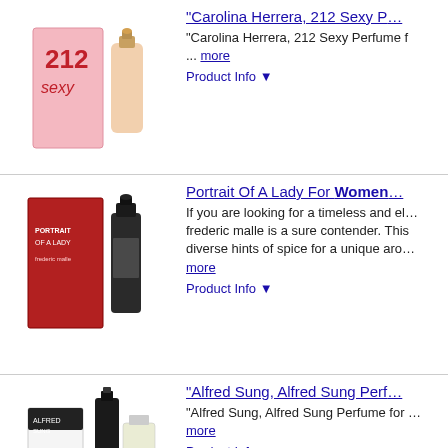[Figure (photo): Carolina Herrera 212 Sexy perfume bottle product photo]
"Carolina Herrera, 212 Sexy P... "Carolina Herrera, 212 Sexy Perfume ... more Product Info ▼
[Figure (photo): Portrait of a Lady Frederic Malle perfume box and bottle product photo]
Portrait Of A Lady For Women If you are looking for a timeless and el... frederic malle is a sure contender. This diverse hints of spice for a unique aro... more Product Info ▼
[Figure (photo): Alfred Sung perfume bottles product photo]
"Alfred Sung, Alfred Sung Perf... "Alfred Sung, Alfred Sung Perfume for ... more Product Info ▼
[Figure (photo): Alfred Sung perfume single bottle product photo]
"Alfred Sung, Alfred Sung Perf... "Alfred Sung, Alfred Sung Perfume for ... 3.4 oz" ... more Product Info ▼
[Figure (photo): Creed Aventus for Women perfume box and bottle product photo]
Aventus For Women By Creed Released in 2016, aventus perfume by scent that is just yummy, with a dash o sophisticated womens fragrance anno has all... more